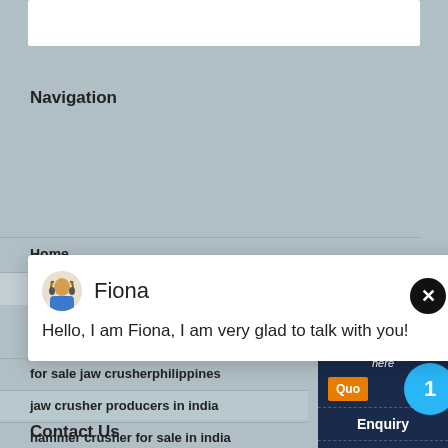[Figure (screenshot): Top white bar area, likely a search or header bar]
Navigation
Home
Product
[Figure (photo): Partial photo of a person's head/hair on right side]
[Figure (screenshot): Chat popup with avatar of Fiona and message: Hello, I am Fiona, I am very glad to talk with you!]
for sale jaw crusherphilippines
jaw crusher producers in india
hammer crusher for sale in india
copper ore crusher in korea
primary crusher station
want to sell machines crusher
Have any requests, click here
Enquiry
limingjlmofen@sina.com
Contact Us